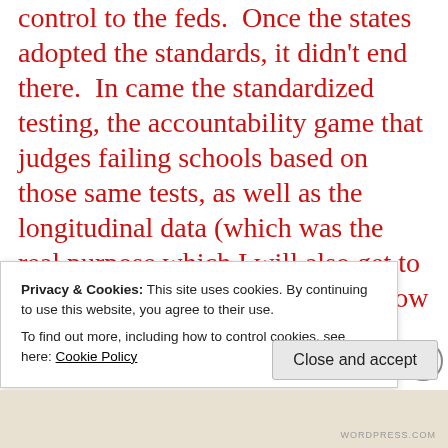control to the feds.  Once the states adopted the standards, it didn't end there.  In came the standardized testing, the accountability game that judges failing schools based on those same tests, as well as the longitudinal data (which was the real purpose which I will also get to later) creation in every state to allow student data to go out.  Once everything was set up in the states
Privacy & Cookies: This site uses cookies. By continuing to use this website, you agree to their use.
To find out more, including how to control cookies, see here: Cookie Policy